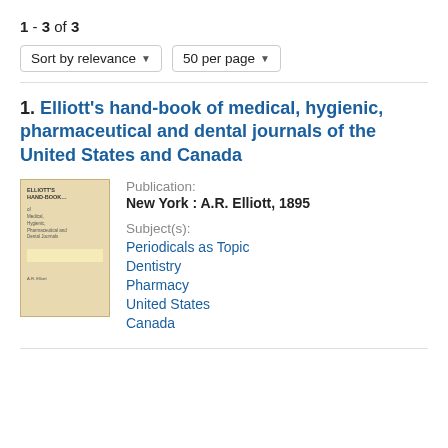1 - 3 of 3
Sort by relevance | 50 per page
1. Elliott's hand-book of medical, hygienic, pharmaceutical and dental journals of the United States and Canada
[Figure (photo): Book cover thumbnail for Elliott's hand-book, beige/tan cover with small text]
Publication:
New York : A.R. Elliott, 1895
Subject(s):
Periodicals as Topic
Dentistry
Pharmacy
United States
Canada